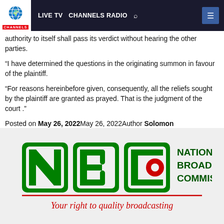LIVE TV  CHANNELS RADIO
authority to itself shall pass its verdict without hearing the other parties.
“I have determined the questions in the originating summon in favour of the plaintiff.
“For reasons hereinbefore given, consequently, all the reliefs sought by the plaintiff are granted as prayed. That is the judgment of the court .”
Posted on May 26, 2022May 26, 2022Author Solomon ElusojiCategories LocalTags advertising, NBC0 Comments
[Figure (logo): National Broadcasting Commission (NBC) logo with green letters N, B, C and red circle, tagline: Your right to quality broadcasting]